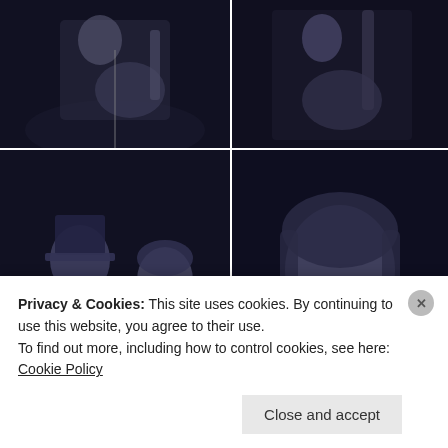[Figure (photo): Six-panel photo grid of musicians performing live. Top row: two black-and-white photos of banjo/guitar players on stage. Middle row: two black-and-white photos of a bearded man in a top hat and a woman singer at microphones playing banjos/guitars. Bottom row: two warm-lit color photos of musicians performing on stage with red curtains.]
Privacy & Cookies: This site uses cookies. By continuing to use this website, you agree to their use.
To find out more, including how to control cookies, see here: Cookie Policy
Close and accept